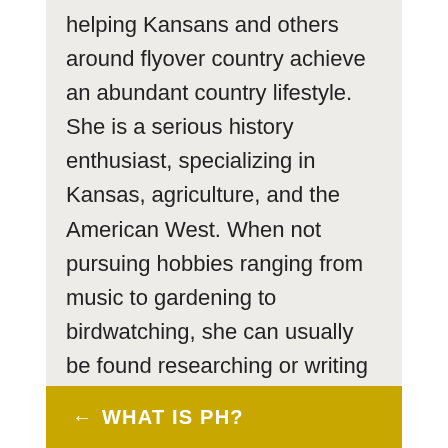helping Kansans and others around flyover country achieve an abundant country lifestyle. She is a serious history enthusiast, specializing in Kansas, agriculture, and the American West. When not pursuing hobbies ranging from music to gardening to birdwatching, she can usually be found researching or writing about her many interests.
View all posts by hsotr
← WHAT IS PH?